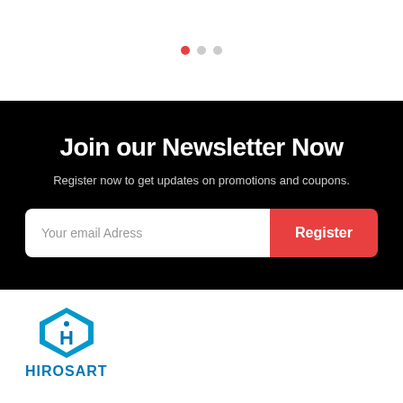[Figure (other): Carousel pagination dots: one active red dot and two inactive grey dots]
Join our Newsletter Now
Register now to get updates on promotions and coupons.
[Figure (other): Email input field with placeholder 'Your email Adress' and a red 'Register' button]
[Figure (logo): HIROSART logo: blue diamond shield icon with 'H' mark and blue text 'HIROSART']